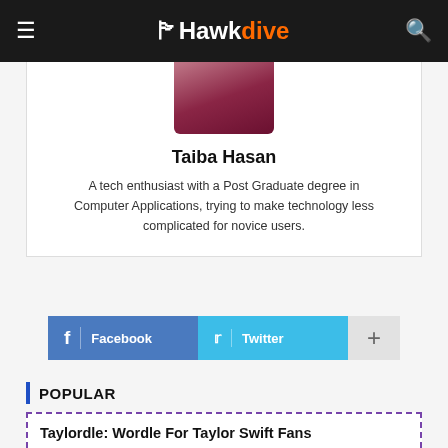HawkDive
[Figure (photo): Profile photo of Taiba Hasan showing a person with a dark red/maroon draped garment]
Taiba Hasan
A tech enthusiast with a Post Graduate degree in Computer Applications, trying to make technology less complicated for novice users.
[Figure (infographic): Social share buttons: Facebook (blue), Twitter (cyan), and a plus button (gray)]
POPULAR
Taylordle: Wordle For Taylor Swift Fans
Ekta Pandey  February 27, 2022 2:1...